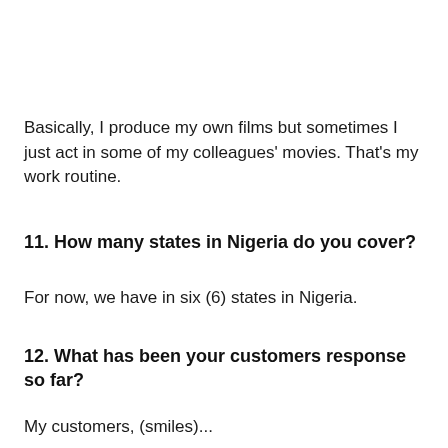Basically, I produce my own films but sometimes I just act in some of my colleagues' movies. That's my work routine.
11. How many states in Nigeria do you cover?
For now, we have in six (6) states in Nigeria.
12. What has been your customers response so far?
My customers, (smiles)...